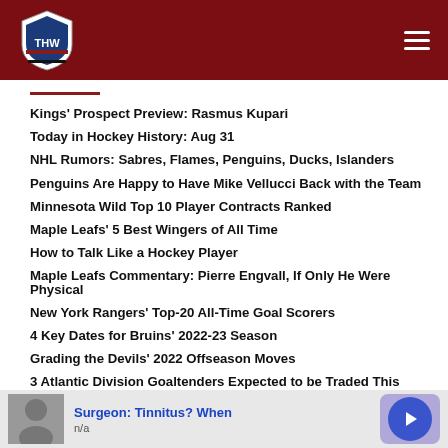THW Hockey Writers
Kings' Prospect Preview: Rasmus Kupari
Today in Hockey History: Aug 31
NHL Rumors: Sabres, Flames, Penguins, Ducks, Islanders
Penguins Are Happy to Have Mike Vellucci Back with the Team
Minnesota Wild Top 10 Player Contracts Ranked
Maple Leafs' 5 Best Wingers of All Time
How to Talk Like a Hockey Player
Maple Leafs Commentary: Pierre Engvall, If Only He Were Physical
New York Rangers' Top-20 All-Time Goal Scorers
4 Key Dates for Bruins' 2022-23 Season
Grading the Devils' 2022 Offseason Moves
3 Atlantic Division Goaltenders Expected to be Traded This Season
[Figure (other): Advertisement banner: Surgeon: Tinnitus? When... with thumbnail photo and blue arrow button]